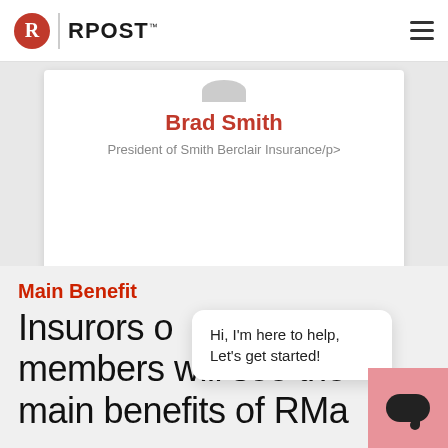RPOST
Brad Smith
President of Smith Berclair Insurance/p>
Main Benefit
Insurors of members will see the main benefits of RMa and RPost services...
Hi, I'm here to help, Let's get started!